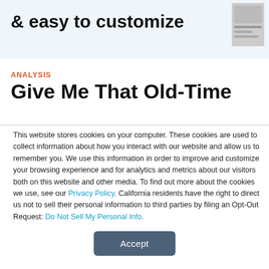& easy to customize
ANALYSIS
Give Me That Old-Time
This website stores cookies on your computer. These cookies are used to collect information about how you interact with our website and allow us to remember you. We use this information in order to improve and customize your browsing experience and for analytics and metrics about our visitors both on this website and other media. To find out more about the cookies we use, see our Privacy Policy. California residents have the right to direct us not to sell their personal information to third parties by filing an Opt-Out Request: Do Not Sell My Personal Info.